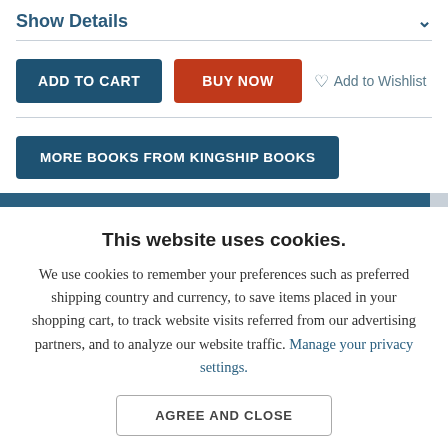Show Details
ADD TO CART | BUY NOW | Add to Wishlist
MORE BOOKS FROM KINGSHIP BOOKS
This website uses cookies.
We use cookies to remember your preferences such as preferred shipping country and currency, to save items placed in your shopping cart, to track website visits referred from our advertising partners, and to analyze our website traffic. Manage your privacy settings.
AGREE AND CLOSE